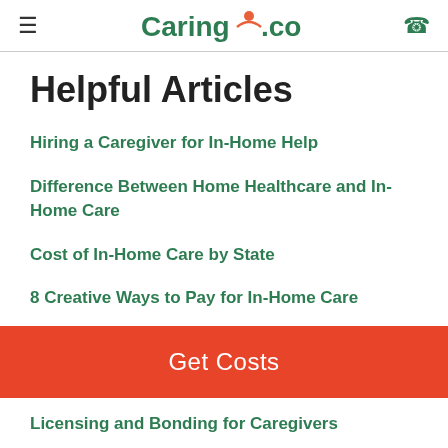Caring.com
Helpful Articles
Hiring a Caregiver for In-Home Help
Difference Between Home Healthcare and In-Home Care
Cost of In-Home Care by State
8 Creative Ways to Pay for In-Home Care
Medicare Coverage of Home Care
Get Costs
Licensing and Bonding for Caregivers